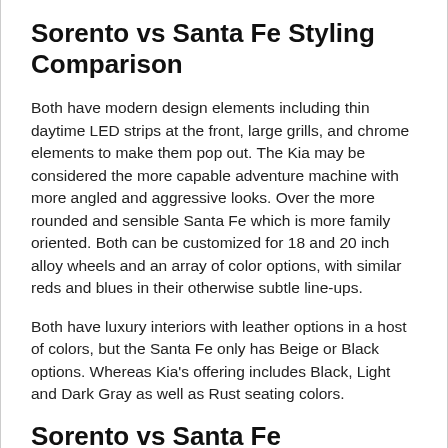Sorento vs Santa Fe Styling Comparison
Both have modern design elements including thin daytime LED strips at the front, large grills, and chrome elements to make them pop out. The Kia may be considered the more capable adventure machine with more angled and aggressive looks. Over the more rounded and sensible Santa Fe which is more family oriented. Both can be customized for 18 and 20 inch alloy wheels and an array of color options, with similar reds and blues in their otherwise subtle line-ups.
Both have luxury interiors with leather options in a host of colors, but the Santa Fe only has Beige or Black options. Whereas Kia's offering includes Black, Light and Dark Gray as well as Rust seating colors.
Sorento vs Santa Fe Conclusion